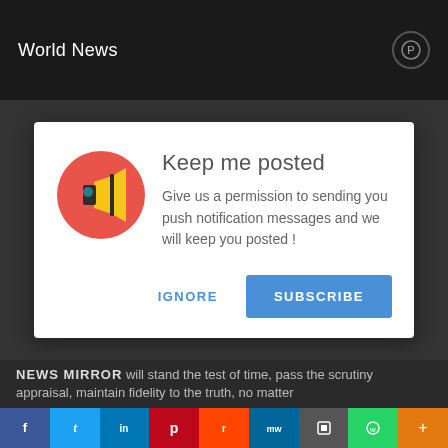World News
[Figure (screenshot): Push notification permission dialog with megaphone icon, title 'Keep me posted', body text, and IGNORE/SUBSCRIBE buttons]
Keep me posted
Give us a permission to sending you push notification messages and we will keep you posted !
NEWS MIRROR will stand the test of time, pass the scrutiny appraisal, maintain fidelity to the truth, no matter